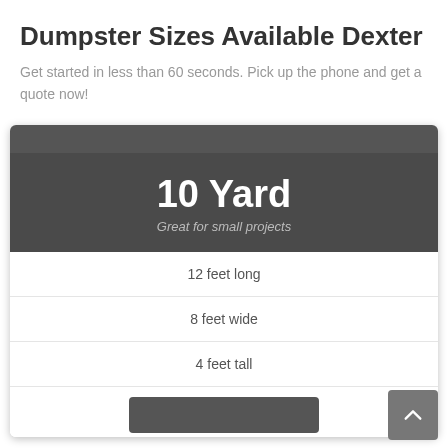Dumpster Sizes Available Dexter
Get started in less than 60 seconds. Pick up the phone and get a quote now!
[Figure (infographic): Card UI element showing a 10 Yard dumpster rental option. Dark header with '10 Yard' in large bold white text, subtitle 'Great for small projects' in italic gray. Below are three spec rows: 12 feet long, 8 feet wide, 4 feet tall. A back-to-top arrow button appears at bottom right. A dark button is partially visible at the bottom.]